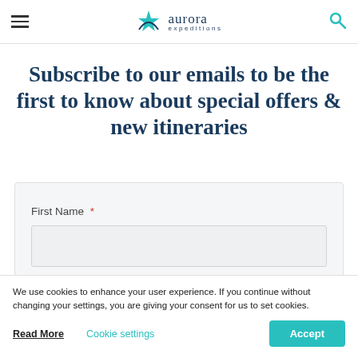aurora expeditions
Subscribe to our emails to be the first to know about special offers & new itineraries
First Name *
We use cookies to enhance your user experience. If you continue without changing your settings, you are giving your consent for us to set cookies.
Read More  Cookie settings  Accept